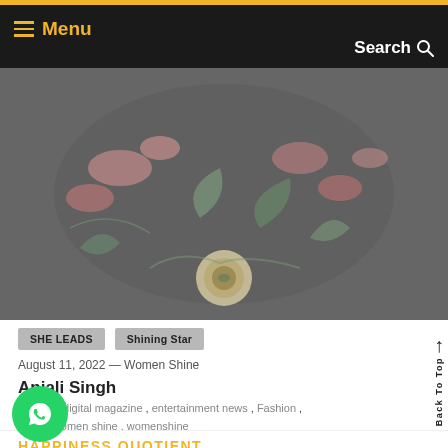Menu | Search
[Figure (photo): Decorative image showing ornate floral and botanical embroidery or jewelry design on dark background with pink flowers, green leaves, and a central circular medallion]
SHE LEADS   Shining Star
August 11, 2022 — Women Shine
Anjali Singh
Tagged: digital magazine , entertainment news , Fashion , [obscured] , women shine , womenshine
HAPPINESS QUOTIENT